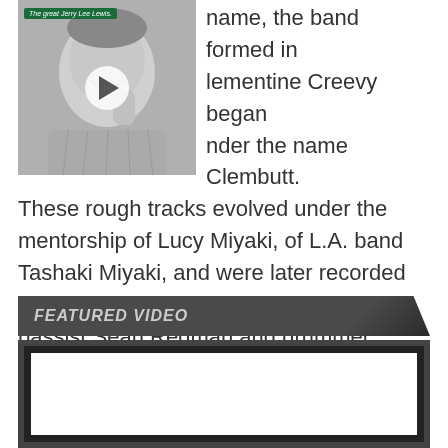[Figure (photo): Black and white photo of a smiling man (Jerry Lee Lewis) with a green label reading 'The great Jerry Lee Lewis.' and a play button overlay]
name, the band formed in Clementine Creevy began under the name Clembutt. These rough tracks evolved under the mentorship of Lucy Miyaki, of L.A. band Tashaki Miyaki, and were later recorded with engineer Joel Jerome. After adding bassist Sean Redman and drummer Hannah Uribe, the band was formed, and Burger Records released their first collection, Papa Cremp, on tape.
FEATURED VIDEO
[Figure (screenshot): Black video player box with white inner frame, empty/dark video content area]